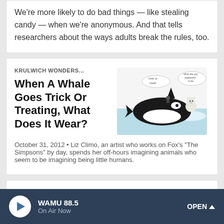We're more likely to do bad things — like stealing candy — when we're anonymous. And that tells researchers about the ways adults break the rules, too.
KRULWICH WONDERS...
When A Whale Goes Trick Or Treating, What Does It Wear?
[Figure (illustration): Illustration of an orca whale and a polar bear on ice, with speech bubbles saying 'trick or treat!' and 'what are you supposed to be']
October 31, 2012 • Liz Climo, an artist who works on Fox's "The Simpsons" by day, spends her off-hours imagining animals who seem to be imagining being little humans.
KRULWICH WONDERS...
Will We [Find Th...
[Figure (photo): Partial photo visible at bottom right of page, dark blue/grey tones]
WAMU 88.5 · On Air Now · OPEN ^